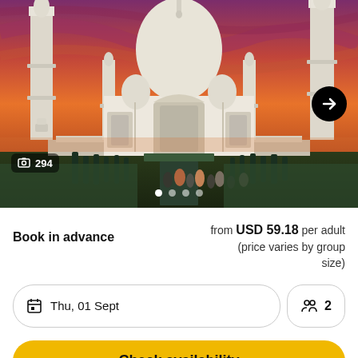[Figure (photo): Taj Mahal at sunset with dramatic red-purple sky, visitors walking in foreground, minarets visible on left and right]
294
from USD 59.18 per adult (price varies by group size)
Book in advance
Thu, 01 Sept
2
Check availability